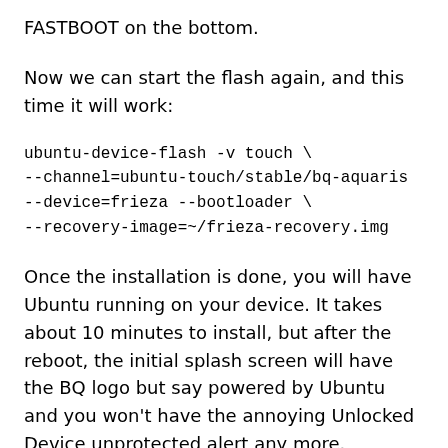FASTBOOT on the bottom.
Now we can start the flash again, and this time it will work:
ubuntu-device-flash -v touch \
--channel=ubuntu-touch/stable/bq-aquaris
--device=frieza --bootloader \
--recovery-image=~/frieza-recovery.img
Once the installation is done, you will have Ubuntu running on your device. It takes about 10 minutes to install, but after the reboot, the initial splash screen will have the BQ logo but say powered by Ubuntu and you won't have the annoying Unlocked Device unprotected alert any more.